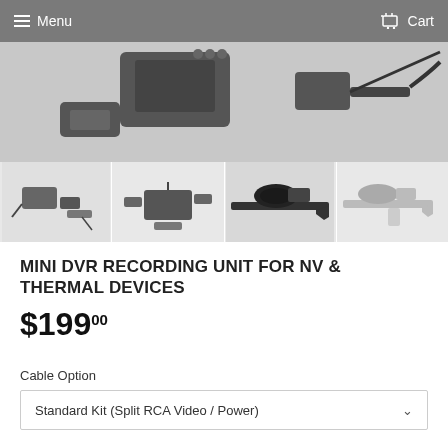Menu   Cart
[Figure (photo): Top partial view of a mini DVR recording device with cables and accessories on a gray background]
[Figure (photo): Four product thumbnail images: (1) DVR unit with cables and components spread out, (2) DVR kit accessories laid flat, (3) DVR mounted on night-vision rifle scope on gun, (4) faded image of gun with scope attachment]
MINI DVR RECORDING UNIT FOR NV & THERMAL DEVICES
$199.00
Cable Option
Standard Kit (Split RCA Video / Power)